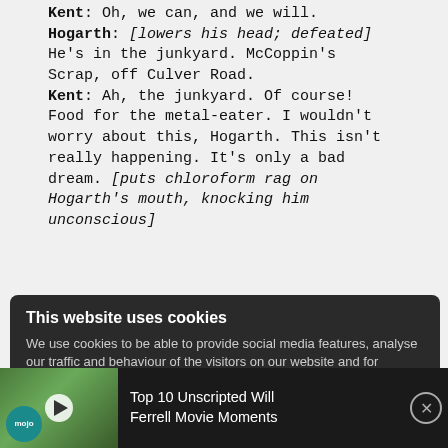Kent: Oh, we can, and we will. Hogarth: [lowers his head; defeated] He's in the junkyard. McCoppin's Scrap, off Culver Road. Kent: Ah, the junkyard. Of course! Food for the metal-eater. I wouldn't worry about this, Hogarth. This isn't really happening. It's only a bad dream. [puts chloroform rag on Hogarth's mouth, knocking him unconscious]
This website uses cookies
We use cookies to be able to provide social media features, analyse our traffic and behaviour of the visitors on our website and for
[Figure (screenshot): Video bar showing a Will Ferrell movie clip thumbnail with WatchMojo logo, play button overlay, and text: Top 10 Unscripted Will Ferrell Movie Moments, with a close (X) button]